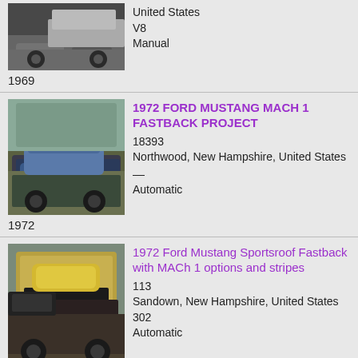[Figure (photo): Partial photo of a classic Ford Mustang, front/side view, cut off at top]
United States
V8
Manual
1969
[Figure (photo): 1972 Ford Mustang Mach 1 Fastback in blue, project car, outdoor setting]
1972 FORD MUSTANG MACH 1 FASTBACK PROJECT
18393
Northwood, New Hampshire, United States
—
Automatic
1972
[Figure (photo): 1972 Ford Mustang Sportsroof Fastback in yellow/gold with black stripes]
1972 Ford Mustang Sportsroof Fastback with MACh 1 options and stripes
113
Sandown, New Hampshire, United States
302
Automatic
1972